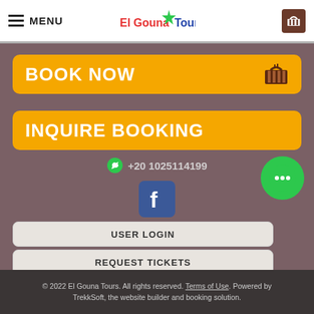≡ MENU | El Gouna Tours
BOOK NOW
INQUIRE BOOKING
+20 1025114199
[Figure (logo): Facebook logo icon - blue square with white f]
USER LOGIN
REQUEST TICKETS
[Figure (illustration): Green circle chat bubble icon with three dots]
© 2022 El Gouna Tours. All rights reserved. Terms of Use. Powered by TrekkSoft, the website builder and booking solution.